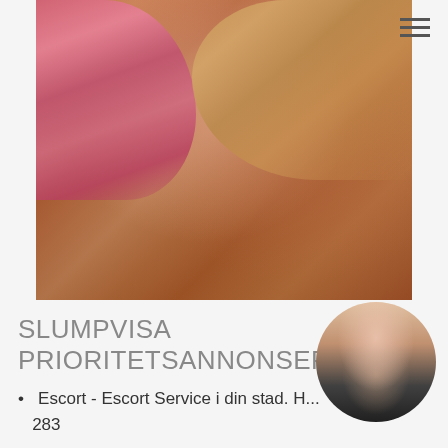[Figure (photo): Woman with pink and blonde hair lying down, warm-toned background]
SLUMPVISA PRIORITETSANNONSER
[Figure (photo): Circular thumbnail photo of a woman with light curly hair wearing dark clothing]
Escort - Escort Service i din stad. H... 283